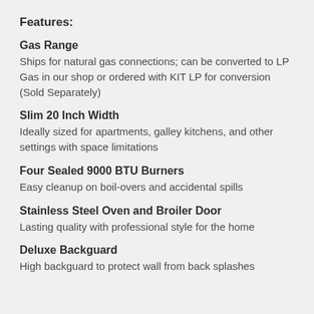Features:
Gas Range
Ships for natural gas connections; can be converted to LP Gas in our shop or ordered with KIT LP for conversion (Sold Separately)
Slim 20 Inch Width
Ideally sized for apartments, galley kitchens, and other settings with space limitations
Four Sealed 9000 BTU Burners
Easy cleanup on boil-overs and accidental spills
Stainless Steel Oven and Broiler Door
Lasting quality with professional style for the home
Deluxe Backguard
High backguard to protect wall from back splashes